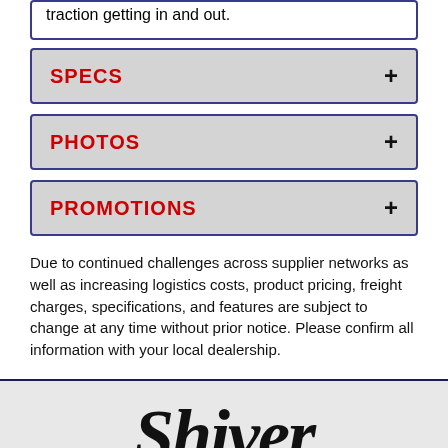traction getting in and out.
SPECS
PHOTOS
PROMOTIONS
Due to continued challenges across supplier networks as well as increasing logistics costs, product pricing, freight charges, specifications, and features are subject to change at any time without prior notice. Please confirm all information with your local dealership.
[Figure (logo): Shiver brand logo in cursive/script lettering]